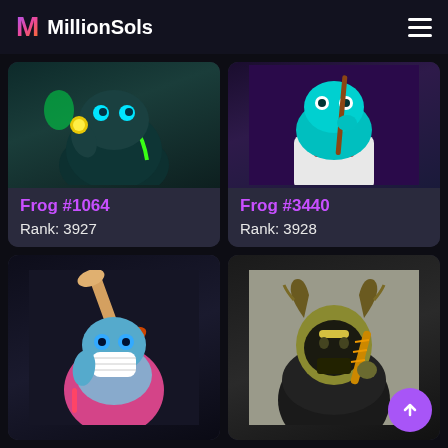MillionSols
[Figure (illustration): NFT card showing Frog #1064 - a frog character in a dark teal wetsuit with neon green accents, holding a glowing item. Card label shows name and rank.]
Frog #1064
Rank: 3927
[Figure (illustration): NFT card showing Frog #3440 - a cyan/blue frog character holding a stick/cue, wearing a white t-shirt with FROG logo, purple background. Card label shows name and rank.]
Frog #3440
Rank: 3928
[Figure (illustration): NFT card showing a frog character wearing a surgical mask, holding a baseball bat and what appears to be a hot dog, wearing pink jacket with chain.]
[Figure (illustration): NFT card showing a bull/minotaur character in a dark hoodie wearing a yellow mask with horns, holding a churro/food item.]